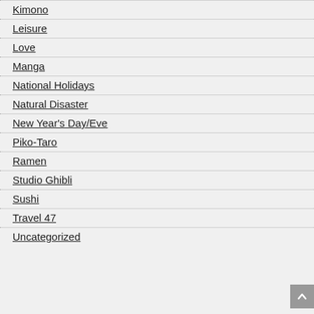Kimono
Leisure
Love
Manga
National Holidays
Natural Disaster
New Year's Day/Eve
Piko-Taro
Ramen
Studio Ghibli
Sushi
Travel 47
Uncategorized